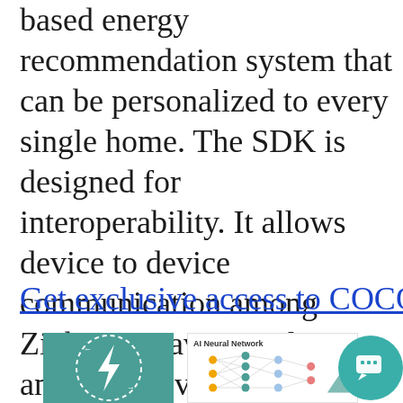based energy recommendation system that can be personalized to every single home. The SDK is designed for interoperability. It allows device to device communication among Zigbee, Zwave, wireless, and BLE devices.
Get exclusive access to COCO SDKs
[Figure (illustration): A teal/green box with a lightning bolt icon inside a dashed circle, a neural network diagram labeled 'AI Neural Network', and a circular teal chat button with speech bubble icon on the right.]